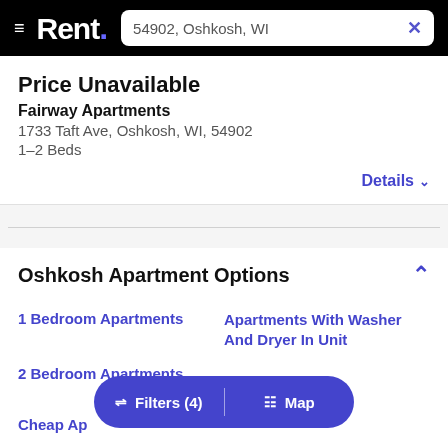Rent. — 54902, Oshkosh, WI
Price Unavailable
Fairway Apartments
1733 Taft Ave, Oshkosh, WI, 54902
1–2 Beds
Details
Oshkosh Apartment Options
1 Bedroom Apartments
Apartments With Washer And Dryer In Unit
2 Bedroom Apartments
Cheap Apartments
Luxury Apartments
Filters (4)  |  Map